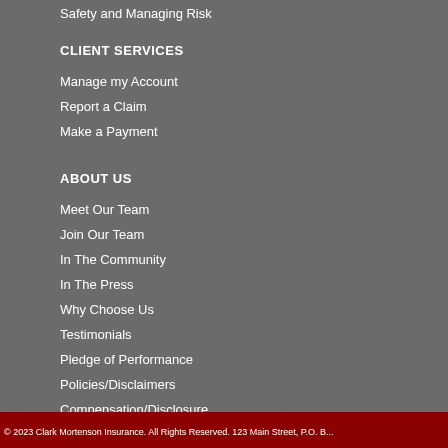Safety and Managing Risk
CLIENT SERVICES
Manage my Account
Report a Claim
Make a Payment
ABOUT US
Meet Our Team
Join Our Team
In The Community
In The Press
Why Choose Us
Testimonials
Pledge of Performance
Policies/Disclaimers
Compensation/Disclosure
Sitemap
© 2023 Clark Mortenson Insurance. All Rights Reserved. 123 Main Street, P.O. B...